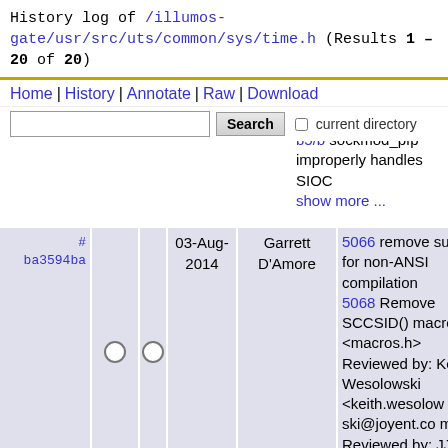History log of /illumos-gate/usr/src/uts/common/sys/time.h (Results 1 – 20 of 20)
Home | History | Annotate | Raw | Download
b5/b sockmod_pfp improperly handles SIOC show more ...
| hash |  |  | date | author | description |
| --- | --- | --- | --- | --- | --- |
| # ba3594ba | ○ | ○ | 03-Aug-2014 | Garrett D'Amore | 5066 remove support for non-ANSI compilation 5068 Remove SCCSID() macro from <macros.h> Reviewed by: Keith Wesolowski <keith.wesolowski@joyent.com> Reviewed by: Jjosef 'Jeff' |